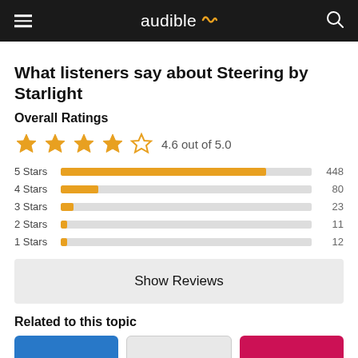audible
What listeners say about Steering by Starlight
Overall Ratings
[Figure (bar-chart): Overall Ratings]
Show Reviews
Related to this topic